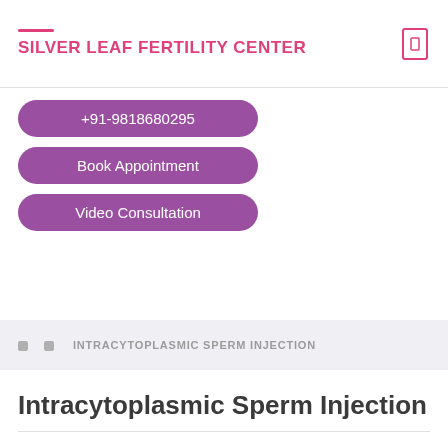SILVER LEAF FERTILITY CENTER
+91-9818680295
Book Appointment
Video Consultation
INTRACYTOPLASMIC SPERM INJECTION
Intracytoplasmic Sperm Injection